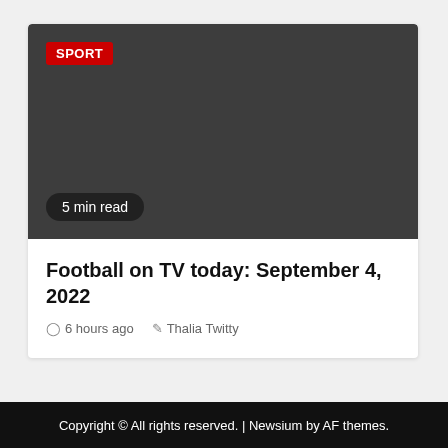[Figure (photo): Dark gray placeholder image with a red 'SPORT' badge in the top-left and a '5 min read' pill badge in the bottom-left]
Football on TV today: September 4, 2022
6 hours ago   Thalia Twitty
Copyright © All rights reserved. | Newsium by AF themes.